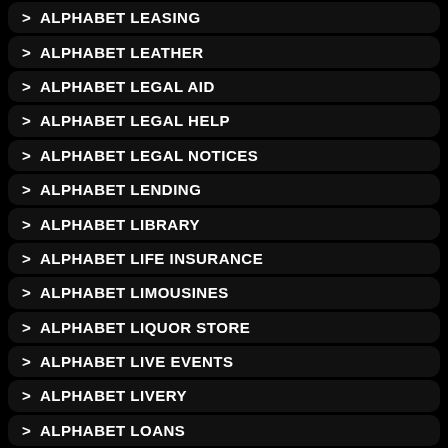> ALPHABET LEASING
> ALPHABET LEATHER
> ALPHABET LEGAL AID
> ALPHABET LEGAL HELP
> ALPHABET LEGAL NOTICES
> ALPHABET LENDING
> ALPHABET LIBRARY
> ALPHABET LIFE INSURANCE
> ALPHABET LIMOUSINES
> ALPHABET LIQUOR STORE
> ALPHABET LIVE EVENTS
> ALPHABET LIVERY
> ALPHABET LOANS